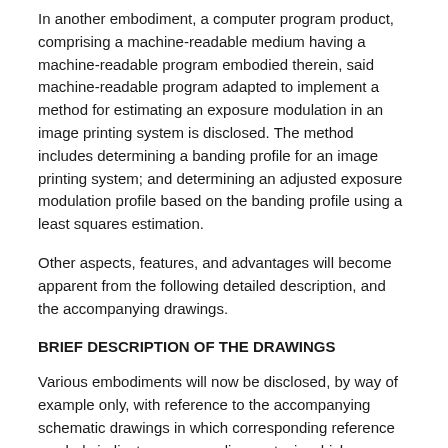In another embodiment, a computer program product, comprising a machine-readable medium having a machine-readable program embodied therein, said machine-readable program adapted to implement a method for estimating an exposure modulation in an image printing system is disclosed. The method includes determining a banding profile for an image printing system; and determining an adjusted exposure modulation profile based on the banding profile using a least squares estimation.
Other aspects, features, and advantages will become apparent from the following detailed description, and the accompanying drawings.
BRIEF DESCRIPTION OF THE DRAWINGS
Various embodiments will now be disclosed, by way of example only, with reference to the accompanying schematic drawings in which corresponding reference symbols indicate corresponding parts, in which
FIG. 1 illustrates an image printing system incorporating an